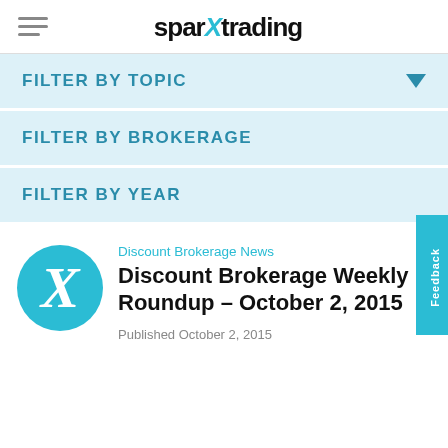[Figure (logo): SparX Trading logo with hamburger menu icon on the left and the stylized 'sparXtrading' wordmark centered]
FILTER BY TOPIC
FILTER BY BROKERAGE
FILTER BY YEAR
Discount Brokerage News
Discount Brokerage Weekly Roundup – October 2, 2015
Published October 2, 2015